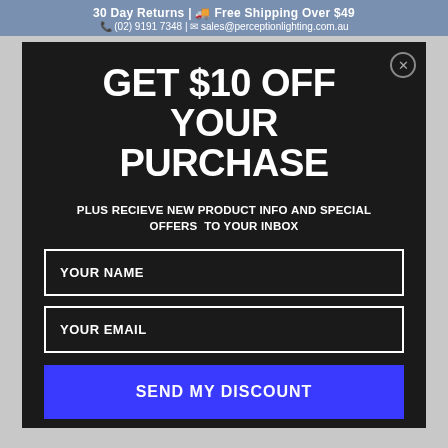30 Day Returns | 🚚 Free Shipping Over $49
📞 (02) 9191 7348 | ✉ sales@perceptionlighting.com.au
GET $10 OFF YOUR PURCHASE
PLUS RECIEVE NEW PRODUCT INFO AND SPECIAL OFFERS TO YOUR INBOX
YOUR NAME
YOUR EMAIL
SEND MY DISCOUNT